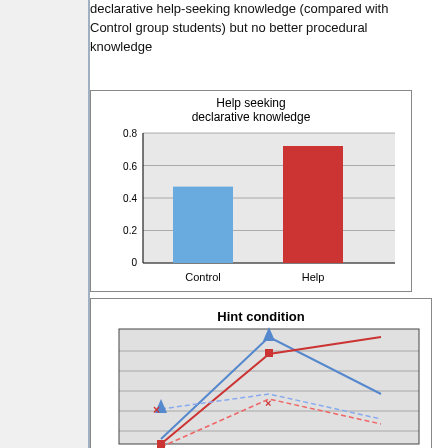declarative help-seeking knowledge (compared with Control group students) but no better procedural knowledge
[Figure (bar-chart): Help seeking declarative knowledge]
[Figure (other): Hint condition diagram showing connected lines and markers in blue and red forming a triangular/network pattern]